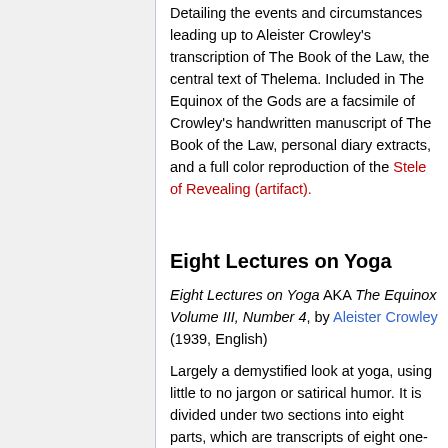Detailing the events and circumstances leading up to Aleister Crowley's transcription of The Book of the Law, the central text of Thelema. Included in The Equinox of the Gods are a facsimile of Crowley's handwritten manuscript of The Book of the Law, personal diary extracts, and a full color reproduction of the Stele of Revealing (artifact).
Eight Lectures on Yoga
Eight Lectures on Yoga AKA The Equinox Volume III, Number 4, by Aleister Crowley (1939, English)
Largely a demystified look at yoga, using little to no jargon or satirical humor. It is divided under two sections into eight parts, which are transcripts of eight one-hour lectures on the subject given by